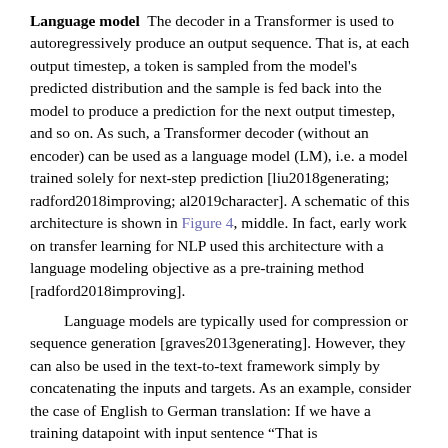Language model  The decoder in a Transformer is used to autoregressively produce an output sequence. That is, at each output timestep, a token is sampled from the model's predicted distribution and the sample is fed back into the model to produce a prediction for the next output timestep, and so on. As such, a Transformer decoder (without an encoder) can be used as a language model (LM), i.e. a model trained solely for next-step prediction [liu2018generating; radford2018improving; al2019character]. A schematic of this architecture is shown in Figure 4, middle. In fact, early work on transfer learning for NLP used this architecture with a language modeling objective as a pre-training method [radford2018improving]. Language models are typically used for compression or sequence generation [graves2013generating]. However, they can also be used in the text-to-text framework simply by concatenating the inputs and targets. As an example, consider the case of English to German translation: If we have a training datapoint with input sentence “That is